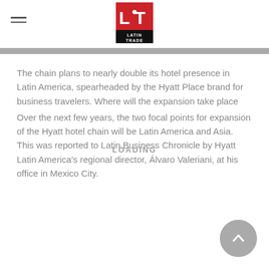[Figure (logo): Latin Trade magazine logo — red square with white 'LT' letters and 'LATIN TRADE' text below in white on black background]
The chain plans to nearly double its hotel presence in Latin America, spearheaded by the Hyatt Place brand for business travelers. Where will the expansion take place
Over the next few years, the two focal points for expansion of the Hyatt hotel chain will be Latin America and Asia. This was reported to Latin Business Chronicle by Hyatt Latin America's regional director, Álvaro Valeriani, at his office in Mexico City.